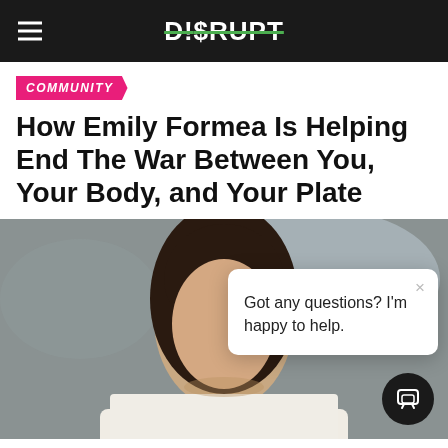D!$RUPT
COMMUNITY
How Emily Formea Is Helping End The War Between You, Your Body, and Your Plate
[Figure (photo): Woman with dark hair wearing a white sweater, blurred outdoor background. Chat popup overlay reads: 'Got any questions? I'm happy to help.']